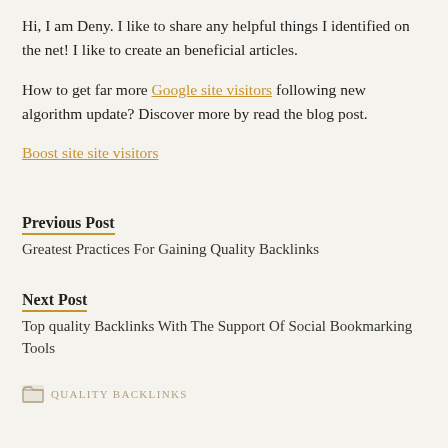Hi, I am Deny. I like to share any helpful things I identified on the net! I like to create an beneficial articles.
How to get far more Google site visitors following new algorithm update? Discover more by read the blog post.
Boost site site visitors
Previous Post
Greatest Practices For Gaining Quality Backlinks
Next Post
Top quality Backlinks With The Support Of Social Bookmarking Tools
QUALITY BACKLINKS